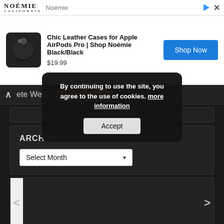[Figure (screenshot): Advertisement banner for Noémie brand showing logo, AirPods Pro case image, price $19.99, and Shop Now button]
Chic Leather Cases for Apple AirPods Pro | Shop Noémie Black/Black
$19.99
Shop Now
ete Weber   Liz Johnson
ARCHIVE
Select Month
By continuing to use the site, you agree to the use of cookies. more information
Accept
COMING EVENTS
GUST, 2022
SORT OPTIONS